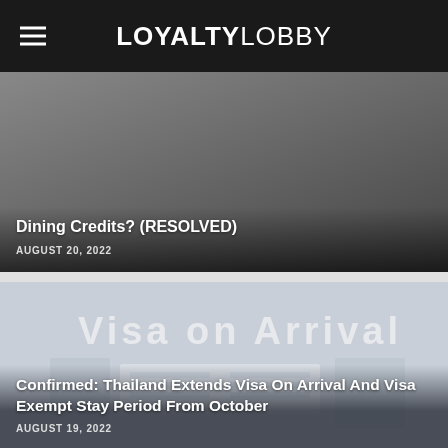LOYALTYLOBBY
Dining Credits? (RESOLVED)
AUGUST 20, 2022
[Figure (photo): Visa on Arrival counter/signage background image, washed out light]
Confirmed: Thailand Extends Visa On Arrival And Visa Exempt Stay Period From October
AUGUST 19, 2022